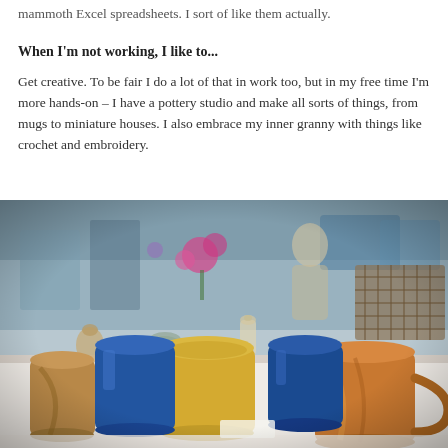mammoth Excel spreadsheets. I sort of like them actually.
When I'm not working, I like to...
Get creative. To be fair I do a lot of that in work too, but in my free time I'm more hands-on – I have a pottery studio and make all sorts of things, from mugs to miniature houses. I also embrace my inner granny with things like crochet and embroidery.
[Figure (photo): A pottery display table with handmade mugs and bowls in blue, yellow, and earth tones arranged on a white tablecloth at what appears to be a craft fair or studio sale. A person is visible in the blurred background.]